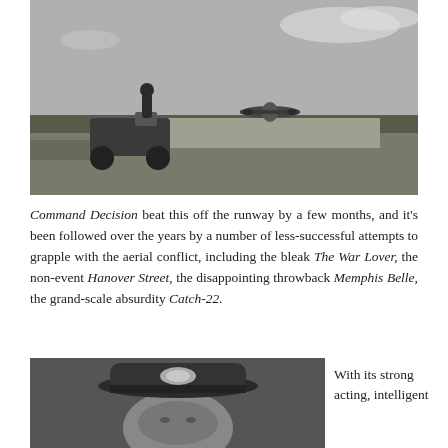[Figure (photo): Black and white photograph of a military jeep on an airfield with a soldier standing in it, a large bomber aircraft taking off in the background, flat landscape with trees on the horizon.]
Command Decision beat this off the runway by a few months, and it's been followed over the years by a number of less-successful attempts to grapple with the aerial conflict, including the bleak The War Lover, the non-event Hanover Street, the disappointing throwback Memphis Belle, the grand-scale absurdity Catch-22.
[Figure (photo): Black and white close-up photograph of a person wearing a military officer's peaked cap with an eagle insignia badge.]
With its strong acting, intelligent